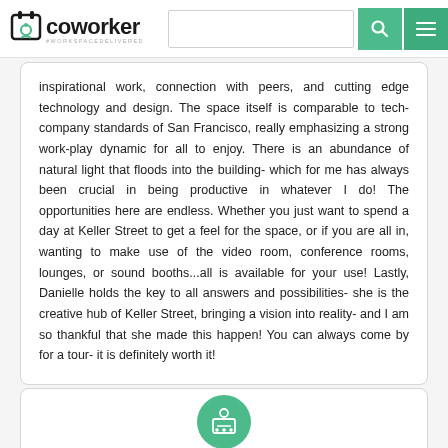coworker #workspacedelivered [search bar] [search button] [menu button]
inspirational work, connection with peers, and cutting edge technology and design. The space itself is comparable to tech-company standards of San Francisco, really emphasizing a strong work-play dynamic for all to enjoy. There is an abundance of natural light that floods into the building- which for me has always been crucial in being productive in whatever I do! The opportunities here are endless. Whether you just want to spend a day at Keller Street to get a feel for the space, or if you are all in, wanting to make use of the video room, conference rooms, lounges, or sound booths...all is available for your use! Lastly, Danielle holds the key to all answers and possibilities- she is the creative hub of Keller Street, bringing a vision into reality- and I am so thankful that she made this happen! You can always come by for a tour- it is definitely worth it!
[Figure (illustration): Green circular avatar icon with a group of people/presenter silhouette inside, partially visible at bottom of page]